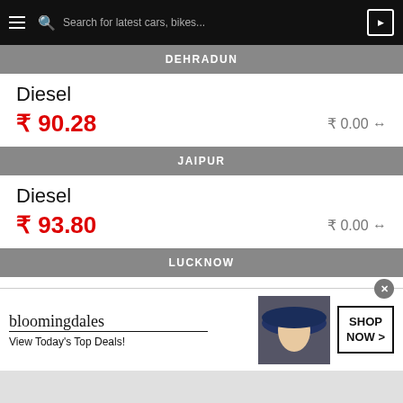Search for latest cars, bikes...
DEHRADUN
Diesel
₹ 90.28    ₹ 0.00 ↔
JAIPUR
Diesel
₹ 93.80    ₹ 0.00 ↔
LUCKNOW
Diesel
[Figure (screenshot): Bloomingdale's advertisement banner: 'bloomingdales / View Today's Top Deals!' with a woman in a hat and SHOP NOW > button]